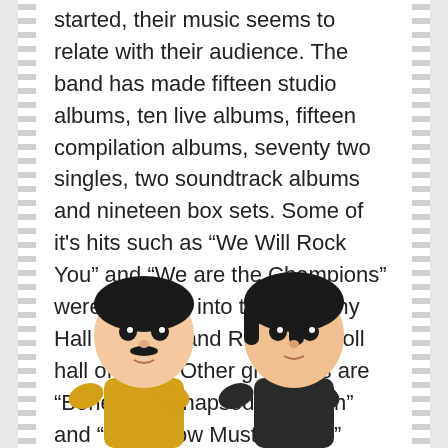started, their music seems to relate with their audience. The band has made fifteen studio albums, ten live albums, fifteen compilation albums, seventy two singles, two soundtrack albums and nineteen box sets. Some of it's hits such as “We Will Rock You” and “We are the Champions” were inducted into the Grammy Hall of Fame and Rock and Roll hall of fame. Other great hits are “Bohemian Rhapsody”, “Flash” and “The Show Must Go On.” Currently they are scheduled to have 27 concerts on their European tour in 2020.
[Figure (illustration): Two Funko Pop vinyl figures resembling band members, one with a mustache in a yellow outfit and one with black hair in a dark outfit, both with large round heads and stylized features.]